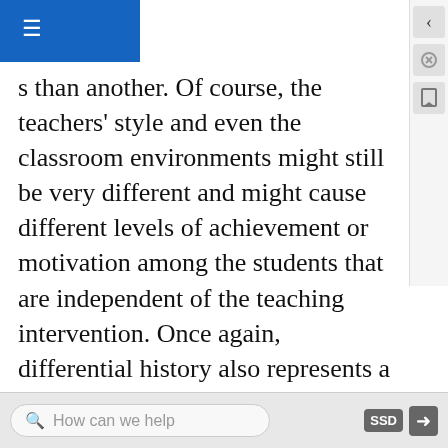s than another. Of course, the teachers' style and even the classroom environments might still be very different and might cause different levels of achievement or motivation among the students that are independent of the teaching intervention. Once again, differential history also represents a potential threat to internal validity. If asbestos is found in one of the schools causing it to be shut down for a month then this interruption in teaching could produce a difference across groups on posttest scores.
If participants in this kind of design are randomly assigned to conditions, it becomes a true between-groups experiment rather than a quasi-experiment. In fact, it is the kind of experiment that Eysenck called for —and that has now been conducted many times—to